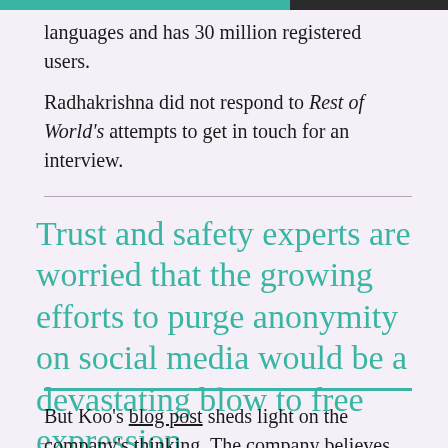languages and has 30 million registered users.
Radhakrishna did not respond to Rest of World's attempts to get in touch for an interview.
Trust and safety experts are worried that the growing efforts to purge anonymity on social media would be a devastating blow to free expression.
But Koo's blog post sheds light on the company's thinking. The company believes that